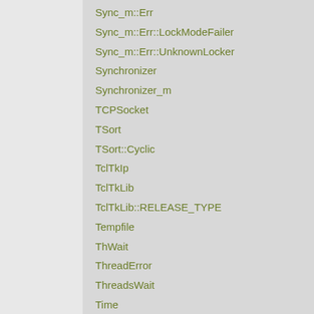Sync_m::Err
Sync_m::Err::LockModeFailer
Sync_m::Err::UnknownLocker
Synchronizer
Synchronizer_m
TCPSocket
TSort
TSort::Cyclic
TclTkIp
TclTkLib
TclTkLib::RELEASE_TYPE
Tempfile
ThWait
ThreadError
ThreadsWait
Time
Timeout
Timeout::Error
Timeout::TimeoutError
TkComm
TkCore
TkCore::Tk_OBJECT_TABLE
Tnooo